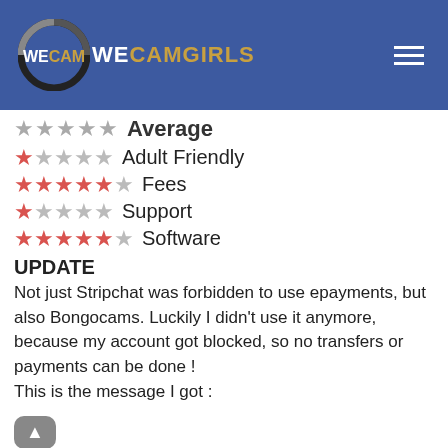WECAMGIRLS
★★★★★ Average
★☆☆☆☆ Adult Friendly
★★★★★ Fees
★☆☆☆☆ Support
★★★★★ Software
UPDATE
Not just Stripchat was forbidden to use epayments, but also Bongocams. Luckily I didn't use it anymore, because my account got blocked, so no transfers or payments can be done !
This is the message I got :
' We write to inform you that in accordance with paragraph 12.1 (j) of our standard terms and